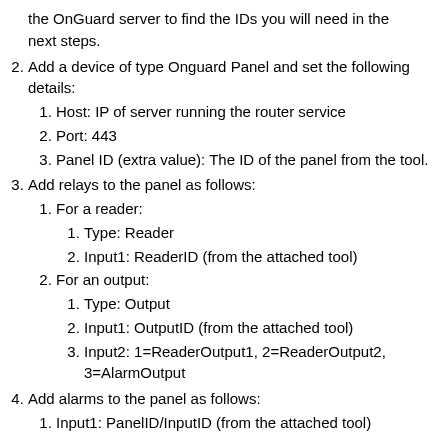the OnGuard server to find the IDs you will need in the next steps.
2. Add a device of type Onguard Panel and set the following details:
1. Host: IP of server running the router service
2. Port: 443
3. Panel ID (extra value): The ID of the panel from the tool.
3. Add relays to the panel as follows:
1. For a reader:
1. Type: Reader
2. Input1: ReaderID (from the attached tool)
2. For an output:
1. Type: Output
2. Input1: OutputID (from the attached tool)
3. Input2: 1=ReaderOutput1, 2=ReaderOutput2, 3=AlarmOutput
4. Add alarms to the panel as follows:
1. Input1: PanelID/InputID (from the attached...